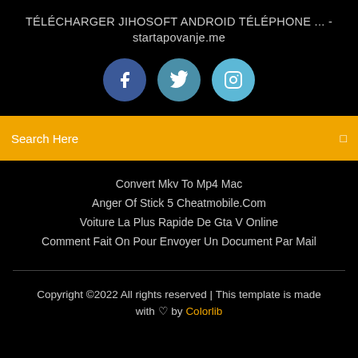TÉLÉCHARGER JIHOSOFT ANDROID TÉLÉPHONE ... - startapovanje.me
[Figure (infographic): Three social media icons: Facebook (dark blue circle with f), Twitter (medium blue circle with bird), Instagram (light blue circle with camera)]
Search Here
Convert Mkv To Mp4 Mac
Anger Of Stick 5 Cheatmobile.Com
Voiture La Plus Rapide De Gta V Online
Comment Fait On Pour Envoyer Un Document Par Mail
Copyright ©2022 All rights reserved | This template is made with ♡ by Colorlib